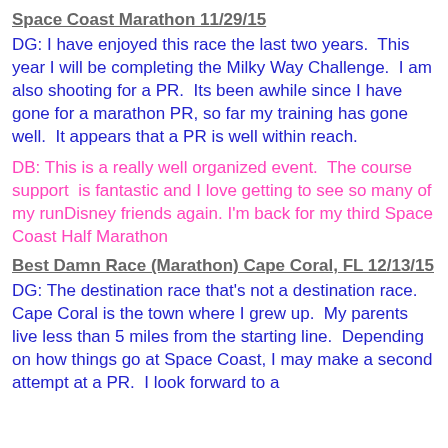Space Coast Marathon 11/29/15
DG: I have enjoyed this race the last two years.  This year I will be completing the Milky Way Challenge.  I am also shooting for a PR.  Its been awhile since I have gone for a marathon PR, so far my training has gone well.  It appears that a PR is well within reach.
DB: This is a really well organized event.  The course support  is fantastic and I love getting to see so many of my runDisney friends again. I'm back for my third Space Coast Half Marathon
Best Damn Race (Marathon) Cape Coral, FL 12/13/15
DG: The destination race that's not a destination race.  Cape Coral is the town where I grew up.  My parents live less than 5 miles from the starting line.  Depending on how things go at Space Coast, I may make a second attempt at a PR.  I look forward to a